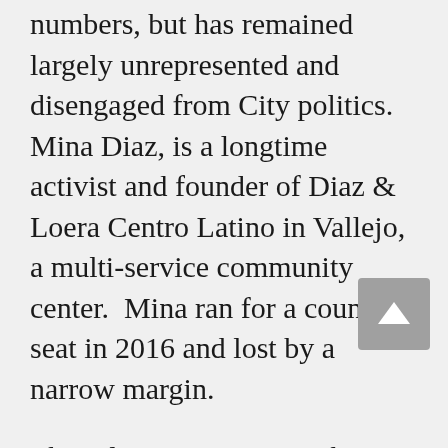numbers, but has remained largely unrepresented and disengaged from City politics. Mina Diaz, is a longtime activist and founder of Diaz & Loera Centro Latino in Vallejo, a multi-service community center.  Mina ran for a council seat in 2016 and lost by a narrow margin.
The Filipino community by contrast has been well organized and very successful in electing political candidates.  Going into the 2018 election cycle they boasted four of the